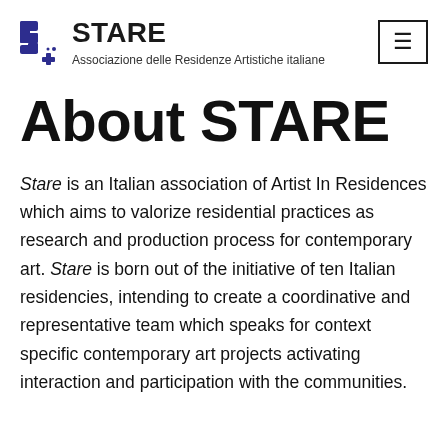[Figure (logo): STARE logo — stylized S shape in dark blue/purple with star element]
STARE
Associazione delle Residenze Artistiche italiane
About STARE
Stare is an Italian association of Artist In Residences which aims to valorize residential practices as research and production process for contemporary art. Stare is born out of the initiative of ten Italian residencies, intending to create a coordinative and representative team which speaks for context specific contemporary art projects activating interaction and participation with the communities.